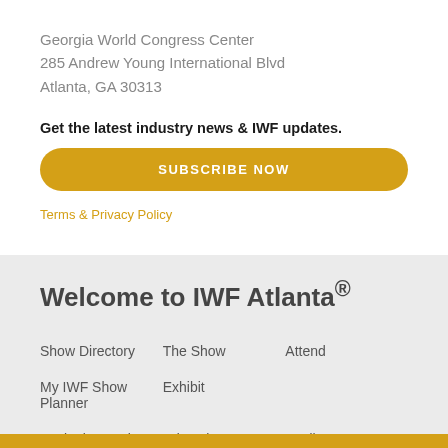Georgia World Congress Center
285 Andrew Young International Blvd
Atlanta, GA 30313
Get the latest industry news & IWF updates.
[Figure (other): Gold rounded rectangle button with white bold text reading SUBSCRIBE NOW]
Terms & Privacy Policy
Welcome to IWF Atlanta®
Show Directory
The Show
Attend
My IWF Show Planner
Exhibit
Marketing Tools
Education
Media
Get Updates